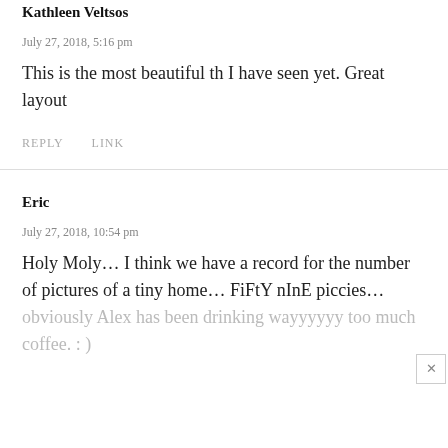Kathleen Veltsos
July 27, 2018, 5:16 pm
This is the most beautiful th I have seen yet. Great layout
REPLY   LINK
Eric
July 27, 2018, 10:54 pm
Holy Moly… I think we have a record for the number of pictures of a tiny home… FiFtY nInE piccies…
obviously Alex has been drinking wayyyyyy too much coffee. : )